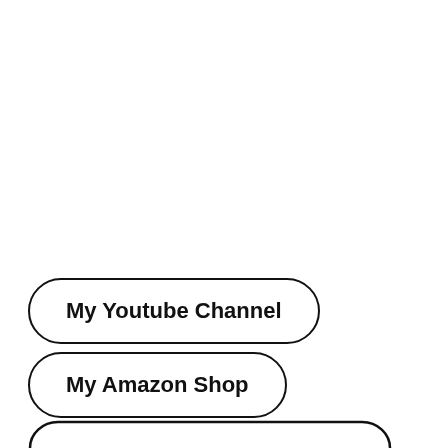My Youtube Channel
My Amazon Shop